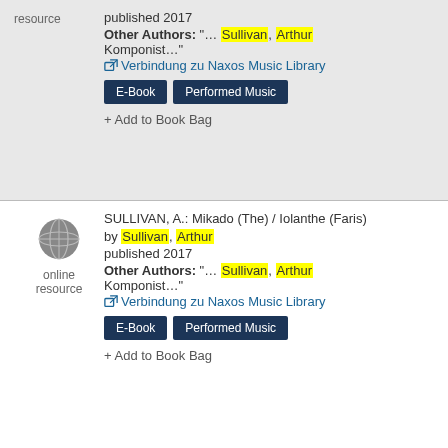resource
published 2017
Other Authors: "... Sullivan, Arthur Komponist..."
Verbindung zu Naxos Music Library
E-Book  Performed Music
+ Add to Book Bag
[Figure (illustration): Globe icon representing online resource]
online resource
SULLIVAN, A.: Mikado (The) / Iolanthe (Faris)
by Sullivan, Arthur
published 2017
Other Authors: "... Sullivan, Arthur Komponist..."
Verbindung zu Naxos Music Library
E-Book  Performed Music
+ Add to Book Bag